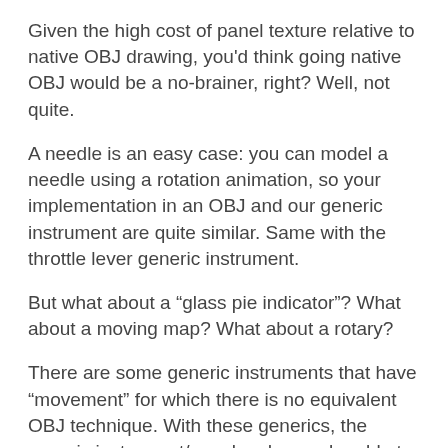Given the high cost of panel texture relative to native OBJ drawing, you'd think going native OBJ would be a no-brainer, right? Well, not quite.
A needle is an easy case: you can model a needle using a rotation animation, so your implementation in an OBJ and our generic instrument are quite similar. Same with the throttle lever generic instrument.
But what about a “glass pie indicator”? What about a moving map? What about a rotary?
There are some generic instruments that have “movement” for which there is no equivalent OBJ technique. With these generics, the generic instrument/panel code may be able to render the generic quite a bit more directly than your OBJ can simulate the same effect.